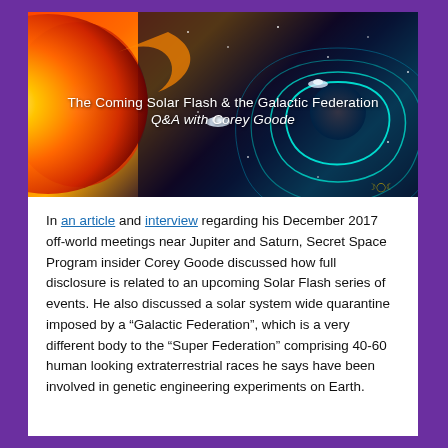[Figure (illustration): Illustration of a solar flash event with the sun on the left emitting orange-red energy, space in the middle, and a planet with teal magnetic field lines on the right. Text overlay reads 'The Coming Solar Flash & the Galactic Federation Q&A with Corey Goode']
In an article and interview regarding his December 2017 off-world meetings near Jupiter and Saturn, Secret Space Program insider Corey Goode discussed how full disclosure is related to an upcoming Solar Flash series of events. He also discussed a solar system wide quarantine imposed by a “Galactic Federation”, which is a very different body to the “Super Federation” comprising 40-60 human looking extraterrestrial races he says have been involved in genetic engineering experiments on Earth.